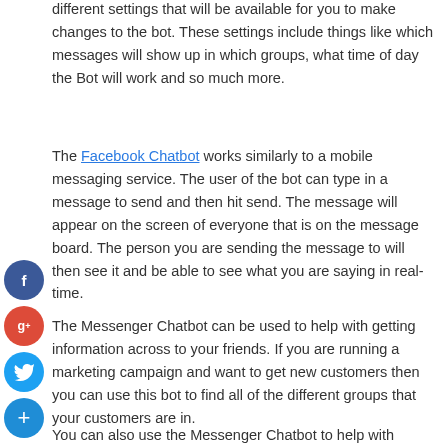different settings that will be available for you to make changes to the bot. These settings include things like which messages will show up in which groups, what time of day the Bot will work and so much more.
The Facebook Chatbot works similarly to a mobile messaging service. The user of the bot can type in a message to send and then hit send. The message will appear on the screen of everyone that is on the message board. The person you are sending the message to will then see it and be able to see what you are saying in real-time.
The Messenger Chatbot can be used to help with getting information across to your friends. If you are running a marketing campaign and want to get new customers then you can use this bot to find all of the different groups that your customers are in.
You can also use the Messenger Chatbot to help with
[Figure (infographic): Social sharing icons: Facebook (blue circle with f), Google+ (red circle with g+), Twitter (blue circle with bird), plus/share (blue circle with +)]